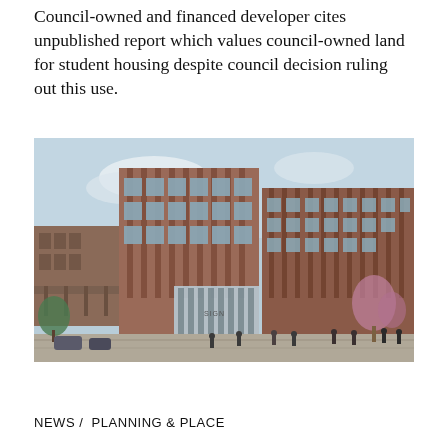Council-owned and financed developer cites unpublished report which values council-owned land for student housing despite council decision ruling out this use.
[Figure (photo): Architectural rendering of a modern multi-storey brick-clad mixed-use development with large glazed ground floor entrance, pedestrians in foreground, trees and landscaping, and a 'SIGN' sign visible on the building facade.]
NEWS / PLANNING & PLACE